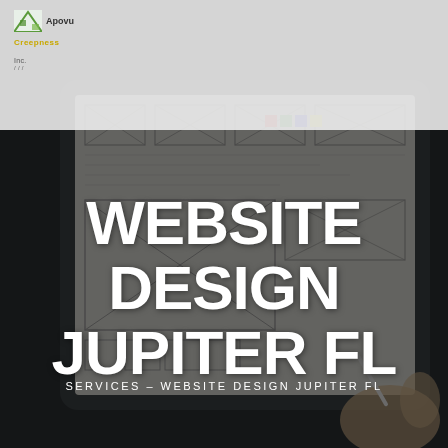[Figure (photo): Dark background photograph of a tablet/iPad displaying website wireframe sketches, held by a person's hands. Heavy dark overlay applied.]
Creepness | Inc.
WEBSITE DESIGN JUPITER FL
SERVICES - WEBSITE DESIGN JUPITER FL